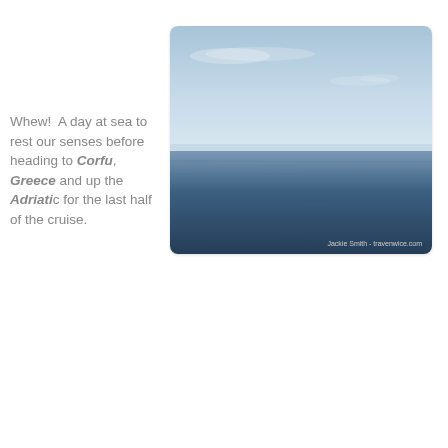[Figure (photo): A photograph of a calm open sea with blue water and a hazy sky on the horizon. Watermark reads: Jackie Smith - travenwice.com]
Whew!  A day at sea to rest our senses before heading to Corfu, Greece and up the Adriatic for the last half of the cruise.